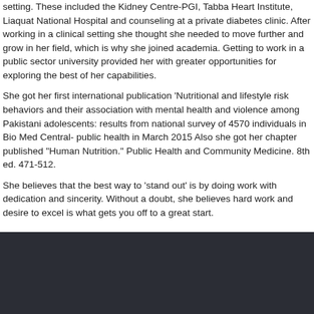setting. These included the Kidney Centre-PGI, Tabba Heart Institute, Liaquat National Hospital and counseling at a private diabetes clinic. After working in a clinical setting she thought she needed to move further and grow in her field, which is why she joined academia. Getting to work in a public sector university provided her with greater opportunities for exploring the best of her capabilities.
She got her first international publication 'Nutritional and lifestyle risk behaviors and their association with mental health and violence among Pakistani adolescents: results from national survey of 4570 individuals in Bio Med Central- public health in March 2015 Also she got her chapter published &quot;Human Nutrition.&quot; Public Health and Community Medicine. 8th ed. 471-512.
She believes that the best way to 'stand out' is by doing work with dedication and sincerity. Without a doubt, she believes hard work and desire to excel is what gets you off to a great start.
ABOUT PNDS